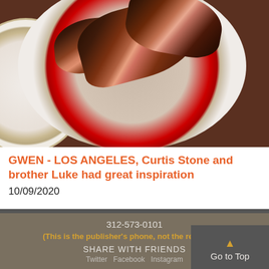[Figure (photo): Overhead photo of sliced grilled steak on a decorative plate with red and gold rim, on a dark wood surface, with a second white plate partially visible on the left.]
GWEN - LOS ANGELES, Curtis Stone and brother Luke had great inspiration
10/09/2020
312-573-0101
(This is the publisher's phone, not the restaurant)
SHARE WITH FRIENDS
Twitter  Facebook  Instagram